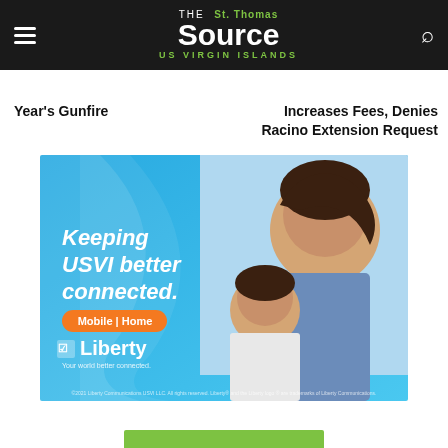The St. Thomas Source — US Virgin Islands
Year's Gunfire
Increases Fees, Denies Racino Extension Request
[Figure (illustration): Liberty telecommunications advertisement showing a mother and daughter laughing, with text 'Keeping USVI better connected. Mobile | Home' and the Liberty logo with tagline 'Your world better connected.']